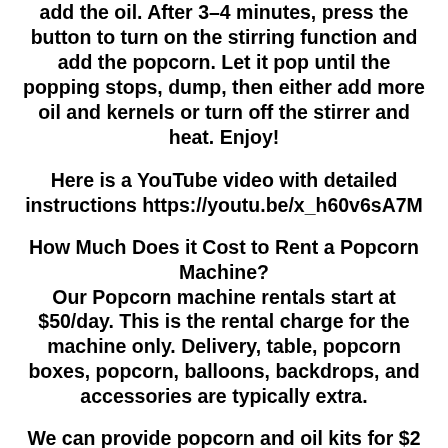add the oil. After 3-4 minutes, press the button to turn on the stirring function and add the popcorn. Let it pop until the popping stops, dump, then either add more oil and kernels or turn off the stirrer and heat. Enjoy!
Here is a YouTube video with detailed instructions https://youtu.be/x_h60v6sA7M
How Much Does it Cost to Rent a Popcorn Machine?
Our Popcorn machine rentals start at $50/day. This is the rental charge for the machine only. Delivery, table, popcorn boxes, popcorn, balloons, backdrops, and accessories are typically extra.
We can provide popcorn and oil kits for $2 each. Each kit makes 6-8